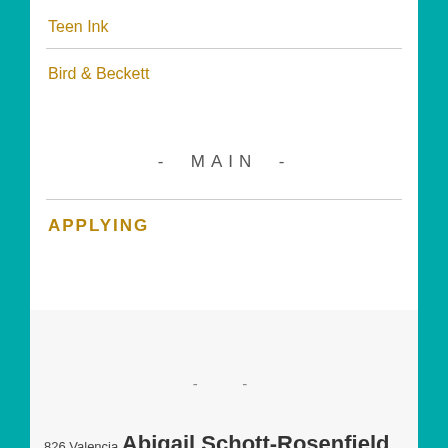Teen Ink
Bird & Beckett
- MAIN -
APPLYING
- -
826 Valencia Abigail Schott-Rosenfield Amina Aineb Angelica Joy LaMarca Anna Geiger Art & Film art and film for teens Avi Hoen Charlotte Pocock Colin Yan creative nonfiction Creative Writing CWI